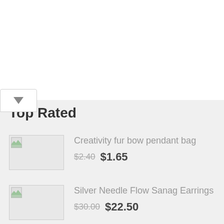Top Rated
Creativity fur bow pendant bag $2.40 $1.65
Silver Needle Flow Sanag Earrings $30.00 $22.50